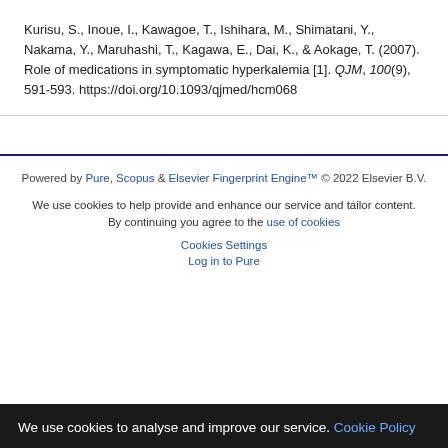Kurisu, S., Inoue, I., Kawagoe, T., Ishihara, M., Shimatani, Y., Nakama, Y., Maruhashi, T., Kagawa, E., Dai, K., & Aokage, T. (2007). Role of medications in symptomatic hyperkalemia [1]. QJM, 100(9), 591-593. https://doi.org/10.1093/qjmed/hcm068
Powered by Pure, Scopus & Elsevier Fingerprint Engine™ © 2022 Elsevier B.V.
We use cookies to help provide and enhance our service and tailor content. By continuing you agree to the use of cookies
Cookies Settings
Log in to Pure
We use cookies to analyse and improve our service. Cookie Policy